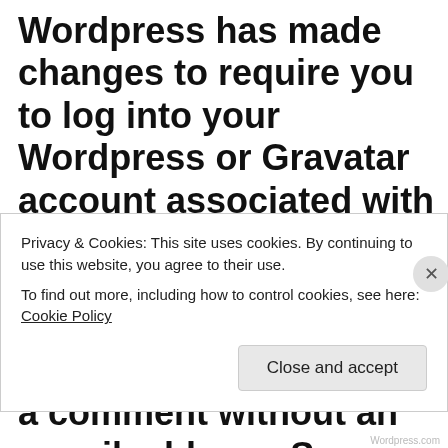Wordpress has made changes to require you to log into your Wordpress or Gravatar account associated with the e-mail address. You can try a different e-mail address, or I have enabled people to leave a comment without an e-mail address. Sorry for any inconvenience because I love hearing from you and want to make
Privacy & Cookies: This site uses cookies. By continuing to use this website, you agree to their use.
To find out more, including how to control cookies, see here: Cookie Policy